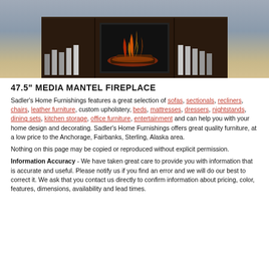[Figure (photo): Photo of a dark espresso wood media mantel fireplace with bookshelves on each side, lit electric fireplace insert in center, books on shelves, displayed in a room setting with light blue walls and wood floor.]
47.5" MEDIA MANTEL FIREPLACE
Sadler's Home Furnishings features a great selection of sofas, sectionals, recliners, chairs, leather furniture, custom upholstery, beds, mattresses, dressers, nightstands, dining sets, kitchen storage, office furniture, entertainment and can help you with your home design and decorating. Sadler's Home Furnishings offers great quality furniture, at a low price to the Anchorage, Fairbanks, Sterling, Alaska area.
Nothing on this page may be copied or reproduced without explicit permission.
Information Accuracy - We have taken great care to provide you with information that is accurate and useful. Please notify us if you find an error and we will do our best to correct it. We ask that you contact us directly to confirm information about pricing, color, features, dimensions, availability and lead times.